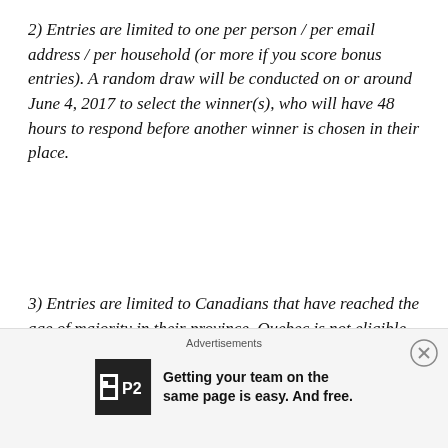2) Entries are limited to one per person / per email address / per household (or more if you score bonus entries). A random draw will be conducted on or around June 4, 2017 to select the winner(s), who will have 48 hours to respond before another winner is chosen in their place.
3) Entries are limited to Canadians that have reached the age of majority in their province. Quebec is not eligible for this promotion.
4) Bonus Entry Opportunities:
Follow Super Duper Studio (purveyors of Saturn
Advertisements
Getting your team on the same page is easy. And free.